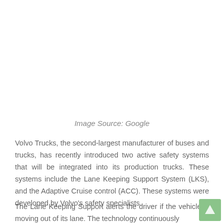Image Source: Google
Volvo Trucks, the second-largest manufacturer of buses and trucks, has recently introduced two active safety systems that will be integrated into its production trucks. These systems include the Lane Keeping Support System (LKS), and the Adaptive Cruise control (ACC). These systems were developed by Volvo's safety specialists.
The Lane Keeping Support alerts the driver if the vehicle is moving out of its lane. The technology continuously